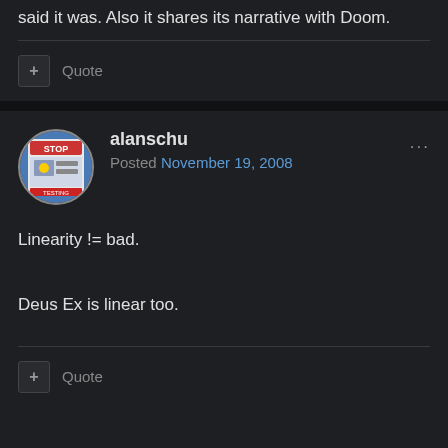said it was. Also it shares its narrative with Doom.
+ Quote
alanschu
Posted November 19, 2008
Linearity != bad.
Deus Ex is linear too.
+ Quote